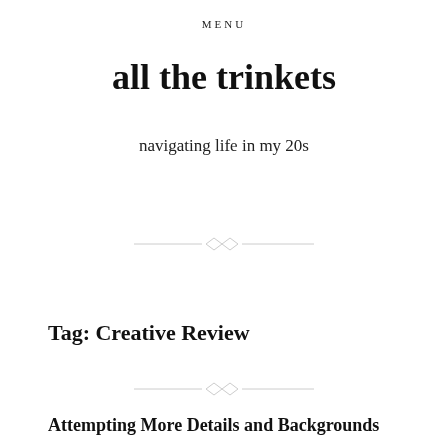MENU
all the trinkets
navigating life in my 20s
[Figure (illustration): Decorative divider with two diamond/rhombus shapes connected by horizontal lines]
Tag: Creative Review
[Figure (illustration): Decorative divider with two diamond/rhombus shapes connected by horizontal lines]
Attempting More Details and Backgrounds